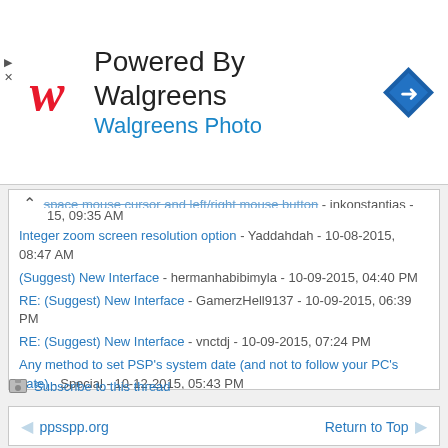[Figure (logo): Powered By Walgreens ad banner with Walgreens cursive W logo, text 'Powered By Walgreens' and 'Walgreens Photo', and a blue diamond navigation arrow icon]
space mouse cursor and left/right mouse button - inkonstantias - [date], 2015, 09:35 AM
Integer zoom screen resolution option - Yaddahdah - 10-08-2015, 08:47 AM
(Suggest) New Interface - hermanhabibimyla - 10-09-2015, 04:40 PM
RE: (Suggest) New Interface - GamerzHell9137 - 10-09-2015, 06:39 PM
RE: (Suggest) New Interface - vnctdj - 10-09-2015, 07:24 PM
Any method to set PSP's system date (and not to follow your PC's date) - Special - 10-12-2015, 05:43 PM
change PPSSPP background on android - sol3195 - 11-15-2015, 02:32 PM
Feature request - Automatic settings for netplay - thatcadguy - 11-17-2015, 10:52 PM
Next update suggestion - HerySean - 05-05-2016, 04:20 AM
Subscribe to this thread
ppsspp.org   Return to Top